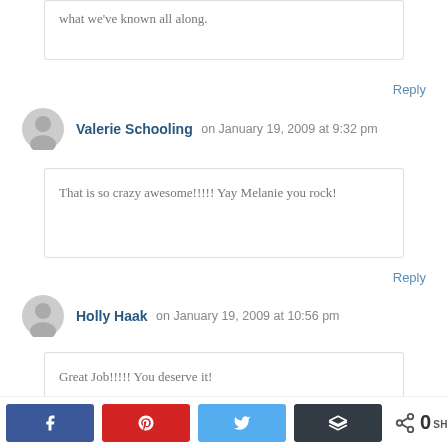what we've known all along.
Reply
Valerie Schooling on January 19, 2009 at 9:32 pm
That is so crazy awesome!!!!! Yay Melanie you rock!
Reply
Holly Haak on January 19, 2009 at 10:56 pm
Great Job!!!!! You deserve it!
[Figure (infographic): Social share bar with Facebook, Pinterest, Twitter, Buffer buttons and 0 shares count]